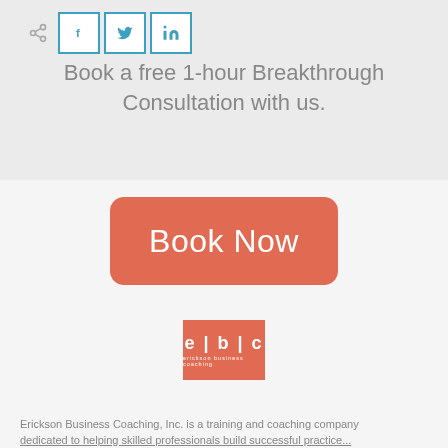[Figure (logo): Social share icon and three social media buttons: Facebook (f), Twitter (bird), LinkedIn (in), all with teal/blue borders on white background]
Book a free 1-hour Breakthrough Consultation with us.
[Figure (other): Salmon/coral colored rounded rectangle button with white text reading 'Book Now']
[Figure (logo): EBC logo - orange/coral square with white text 'e|b|c' and small text 'erickson business coaching' below]
Erickson Business Coaching, Inc. is a training and coaching company dedicated to helping skilled professionals build successful practice...